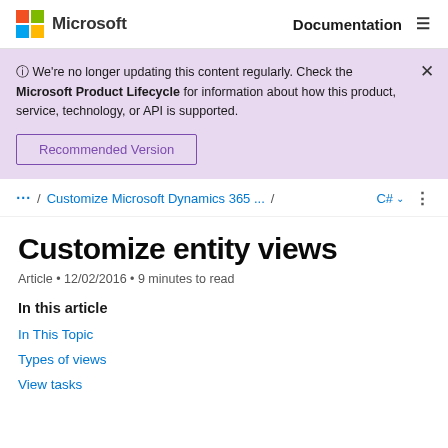Microsoft  Documentation
ⓘ We're no longer updating this content regularly. Check the Microsoft Product Lifecycle for information about how this product, service, technology, or API is supported.
Recommended Version
... / Customize Microsoft Dynamics 365 ... / C#
Customize entity views
Article • 12/02/2016 • 9 minutes to read
In this article
In This Topic
Types of views
View tasks